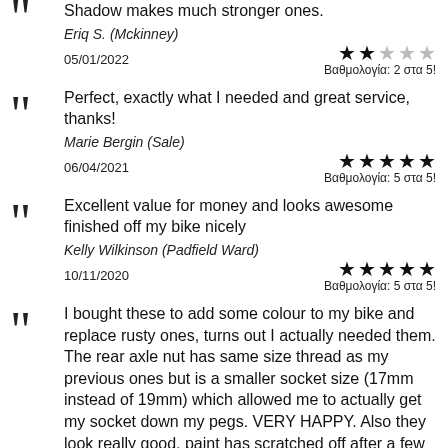Shadow makes much stronger ones.
Eriq S. (Mckinney)
05/01/2022
Βαθμολογία: 2 στα 5!
Perfect, exactly what I needed and great service, thanks!
Marie Bergin (Sale)
06/04/2021
Βαθμολογία: 5 στα 5!
Excellent value for money and looks awesome finished off my bike nicely
Kelly Wilkinson (Padfield Ward)
10/11/2020
Βαθμολογία: 5 στα 5!
I bought these to add some colour to my bike and replace rusty ones, turns out I actually needed them. The rear axle nut has same size thread as my previous ones but is a smaller socket size (17mm instead of 19mm) which allowed me to actually get my socket down my pegs. VERY HAPPY. Also they look really good, paint has scratched off after a few